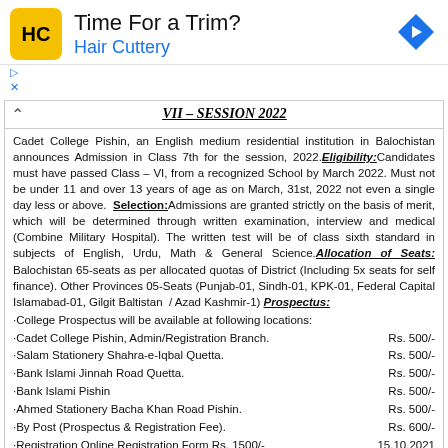[Figure (logo): Hair Cuttery advertisement banner with HC logo in yellow square, text 'Time For a Trim?' and 'Hair Cuttery' in blue, and a blue diamond direction arrow icon]
VII – SESSION 2022
Cadet College Pishin, an English medium residential institution in Balochistan announces Admission in Class 7th for the session, 2022. Eligibility: Candidates must have passed Class – VI, from a recognized School by March 2022. Must not be under 11 and over 13 years of age as on March, 31st, 2022 not even a single day less or above. Selection: Admissions are granted strictly on the basis of merit, which will be determined through written examination, interview and medical (Combine Military Hospital). The written test will be of class sixth standard in subjects of English, Urdu, Math & General Science. Allocation of Seats: Balochistan 65-seats as per allocated quotas of District (Including 5x seats for self finance). Other Provinces 05-Seats (Punjab-01, Sindh-01, KPK-01, Federal Capital Islamabad-01, Gilgit Baltistan / Azad Kashmir-1) Prospectus:
·College Prospectus will be available at following locations:
·Cadet College Pishin, Admin/Registration Branch.    Rs. 500/-
·Salam Stationery Shahra-e-Iqbal Quetta.    Rs. 500/-
·Bank Islami Jinnah Road Quetta.    Rs. 500/-
·Bank Islami Pishin    Rs. 500/-
·Ahmed Stationery Bacha Khan Road Pishin.    Rs. 500/-
·By Post (Prospectus & Registration Fee).    Rs. 600/-
·Registration Online Registration Form Rs. 1500/- 15.10.2021